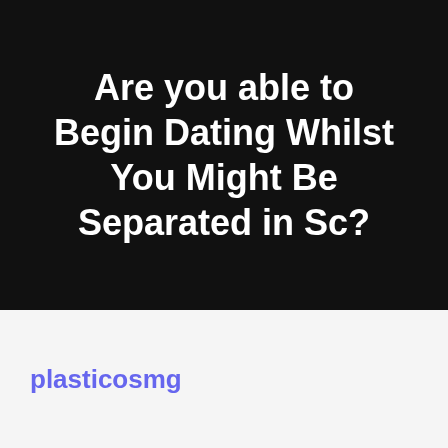Are you able to Begin Dating Whilst You Might Be Separated in Sc?
plasticosmg